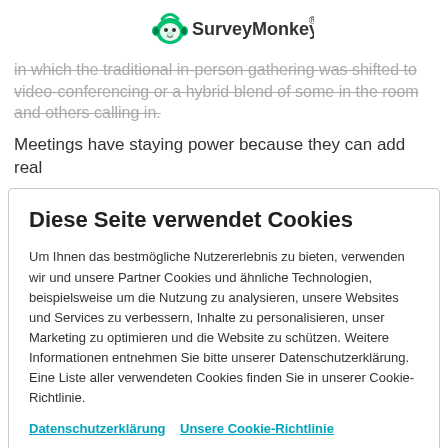SurveyMonkey
in which the traditional in-person gathering was shifted to video-conferencing or a hybrid blend of some in the room and others calling in.
Meetings have staying power because they can add real
Diese Seite verwendet Cookies
Um Ihnen das bestmögliche Nutzererlebnis zu bieten, verwenden wir und unsere Partner Cookies und ähnliche Technologien, beispielsweise um die Nutzung zu analysieren, unsere Websites und Services zu verbessern, Inhalte zu personalisieren, unser Marketing zu optimieren und die Website zu schützen. Weitere Informationen entnehmen Sie bitte unserer Datenschutzerklärung. Eine Liste aller verwendeten Cookies finden Sie in unserer Cookie-Richtlinie.
Datenschutzerklärung  Unsere Cookie-Richtlinie
Cookie-Voreinstellungen   Alle Cookies akzeptieren